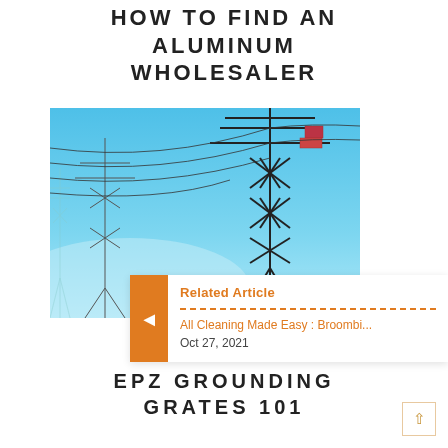HOW TO FIND AN ALUMINUM WHOLESALER
[Figure (photo): Power transmission towers (electrical pylons) with power lines against a blue sky, two towers visible]
Related Article
All Cleaning Made Easy : Broombi...
Oct 27, 2021
EPZ GROUNDING GRATES 101